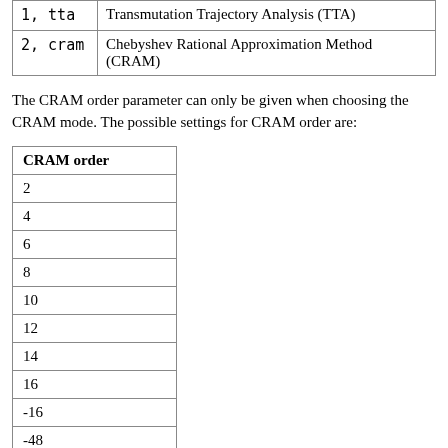|  |  |
| --- | --- |
| 1, tta | Transmutation Trajectory Analysis (TTA) |
| 2, cram | Chebyshev Rational Approximation Method (CRAM) |
The CRAM order parameter can only be given when choosing the CRAM mode. The possible settings for CRAM order are:
| CRAM order |
| --- |
| 2 |
| 4 |
| 6 |
| 8 |
| 10 |
| 12 |
| 14 |
| 16 |
| -16 |
| -48 |
Notes:
The default setting for the burnup calculation mode is CRAM.